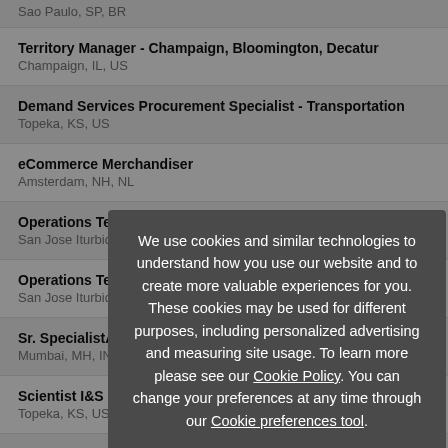Sao Paulo, SP, BR
Territory Manager - Champaign, Bloomington, Decatur
Champaign, IL, US
Demand Services Procurement Specialist - Transportation
Topeka, KS, US
eCommerce Merchandiser
Amsterdam, NH, NL
Operations Team Leader
San Jose Iturbide, NL, MX
Operations Te...
San Jose Iturbid...
Sr. Specialist... Assistant Manager, Data Architect...
Mumbai, MH, IN
Scientist I&S Ingredients
Topeka, KS, US
E- Marketing Manager
We use cookies and similar technologies to understand how you use our website and to create more valuable experiences for you. These cookies may be used for different purposes, including personalized advertising and measuring site usage. To learn more please see our Cookie Policy. You can change your preferences at any time through our Cookie preferences tool.
Accept